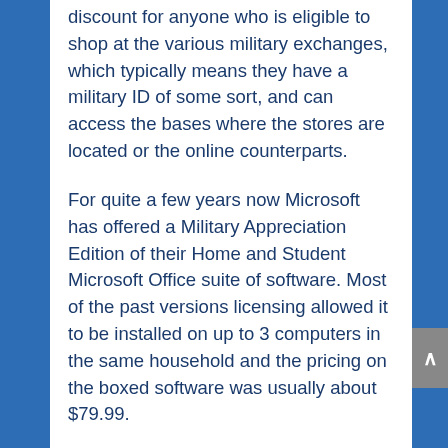discount for anyone who is eligible to shop at the various military exchanges, which typically means they have a military ID of some sort, and can access the bases where the stores are located or the online counterparts.
For quite a few years now Microsoft has offered a Military Appreciation Edition of their Home and Student Microsoft Office suite of software. Most of the past versions licensing allowed it to be installed on up to 3 computers in the same household and the pricing on the boxed software was usually about $79.99.
Microsoft is now offering their Office 365 Home subscription, which was formerly known as Office 365 Home Premium, to those military